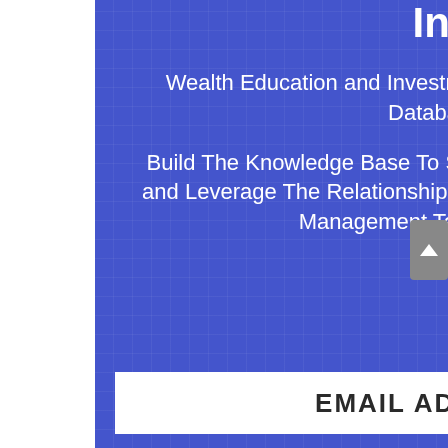Inflation.
Wealth Education and Investment Principles Are Hidden From Public Database On Purpose!
Build The Knowledge Base To Set Yourself Up For A Wealthy Retirement and Leverage The Relationships We Are Forming With Proven Small-Cap Management Teams To Hit Grand-Slams!
EMAIL ADDRESS